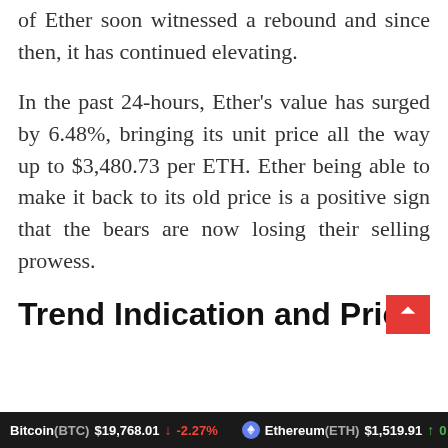of Ether soon witnessed a rebound and since then, it has continued elevating.
In the past 24-hours, Ether's value has surged by 6.48%, bringing its unit price all the way up to $3,480.73 per ETH. Ether being able to make it back to its old price is a positive sign that the bears are now losing their selling prowess.
Trend Indication and Price Elevation
Bitcoin(BTC) $19,768.01 ↓ -2.27%    Ethereum(ETH) $1,519.91 ↑ 0